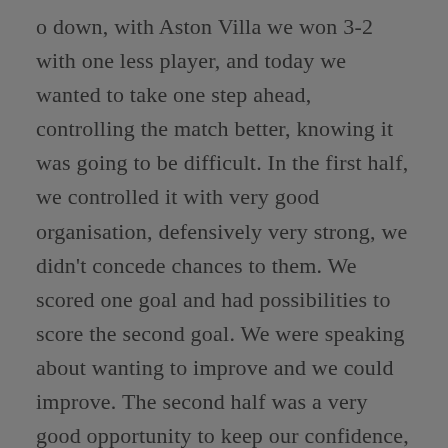o down, with Aston Villa we won 3-2 with one less player, and today we wanted to take one step ahead, controlling the match better, knowing it was going to be difficult. In the first half, we controlled it with very good organisation, defensively very strong, we didn't concede chances to them. We scored one goal and had possibilities to score the second goal. We were speaking about wanting to improve and we could improve. The second half was a very good opportunity to keep our confidence, getting better with the ball, the combinations, the control, and also stopping their actions with the ball. We did that in the first half but, In the second half, maybe because the first